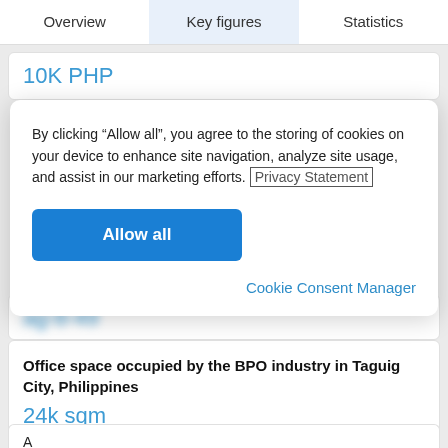Overview | Key figures | Statistics
10K PHP
By clicking “Allow all”, you agree to the storing of cookies on your device to enhance site navigation, analyze site usage, and assist in our marketing efforts. Privacy Statement
Allow all
Cookie Consent Manager
24k sqm
Office space occupied by the BPO industry in Taguig City, Philippines
24k sqm